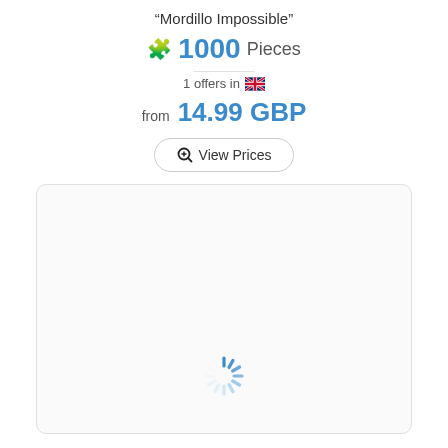"Mordillo Impossible"
🧩 1000 Pieces
1 offers in 🇬🇧
from 14.99 GBP
🔍 View Prices
[Figure (other): Loading spinner animation inside a rounded card box]